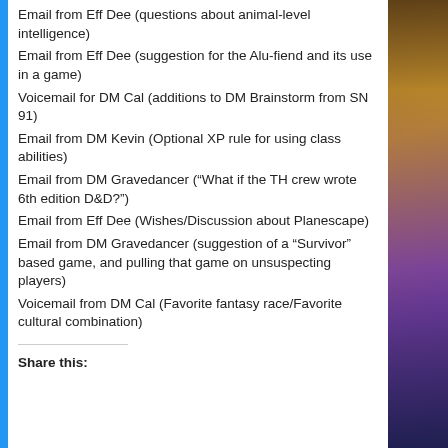Email from Eff Dee (questions about animal-level intelligence)
Email from Eff Dee (suggestion for the Alu-fiend and its use in a game)
Voicemail for DM Cal (additions to DM Brainstorm from SN 91)
Email from DM Kevin (Optional XP rule for using class abilities)
Email from DM Gravedancer (“What if the TH crew wrote 6th edition D&D?”)
Email from Eff Dee (Wishes/Discussion about Planescape)
Email from DM Gravedancer (suggestion of a “Survivor” based game, and pulling that game on unsuspecting players)
Voicemail from DM Cal (Favorite fantasy race/Favorite cultural combination)
Share this: